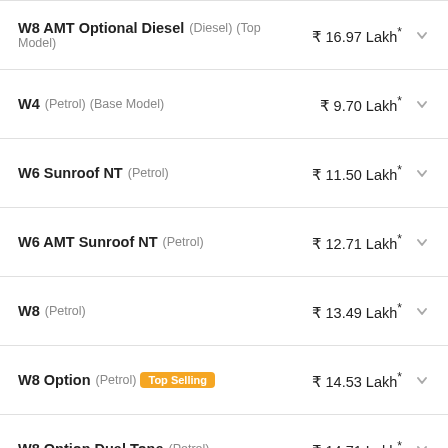W8 AMT Optional Diesel (Diesel) (Top Model) ₹ 16.97 Lakh*
W4 (Petrol) (Base Model) ₹ 9.70 Lakh*
W6 Sunroof NT (Petrol) ₹ 11.50 Lakh*
W6 AMT Sunroof NT (Petrol) ₹ 12.71 Lakh*
W8 (Petrol) ₹ 13.49 Lakh*
W8 Option (Petrol) Top Selling ₹ 14.53 Lakh*
W8 Option Dual Tone (Petrol) ₹ 14.71 Lakh*
W8 Option AMT (Petrol) ₹ 15.32 Lakh*